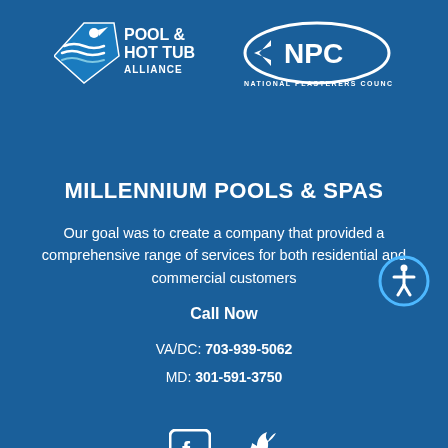[Figure (logo): Pool & Hot Tub Alliance logo and National Plasterers Council (NPC) logo side by side on blue background]
MILLENNIUM POOLS & SPAS
Our goal was to create a company that provided a comprehensive range of services for both residential and commercial customers
Call Now
VA/DC: 703-939-5062
MD: 301-591-3750
[Figure (illustration): Facebook and Twitter social media icons in white]